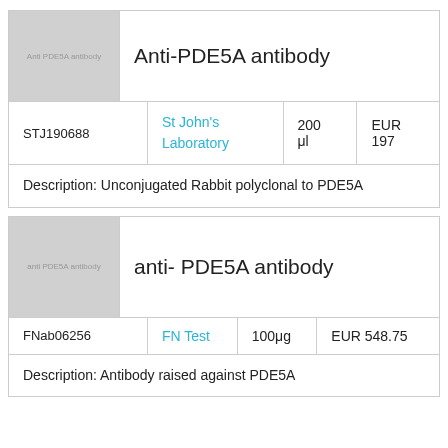[Figure (photo): Placeholder image for Anti-PDE5A antibody product, grey box with text 'Anti PDE5A antibody']
Anti-PDE5A antibody
| ID | Supplier | Quantity | Price |
| --- | --- | --- | --- |
| STJ190688 | St John's Laboratory | 200 μl | EUR 197 |
Description: Unconjugated Rabbit polyclonal to PDE5A
[Figure (photo): Placeholder image for anti-PDE5A antibody product, grey box with text 'anti PDE5A antibody']
anti- PDE5A antibody
| ID | Supplier | Quantity | Price |
| --- | --- | --- | --- |
| FNab06256 | FN Test | 100μg | EUR 548.75 |
Description: Antibody raised against PDE5A